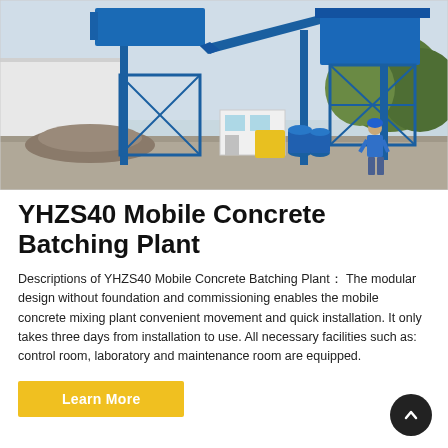[Figure (photo): Photograph of a blue YHZS40 Mobile Concrete Batching Plant on an outdoor construction site. The large blue steel frame structure with conveyor belts and hoppers is visible. A worker in a blue jacket and hard hat stands to the right. Blue barrels and aggregate piles are visible. Trees are in the background.]
YHZS40 Mobile Concrete Batching Plant
Descriptions of YHZS40 Mobile Concrete Batching Plant： The modular design without foundation and commissioning enables the mobile concrete mixing plant convenient movement and quick installation. It only takes three days from installation to use. All necessary facilities such as: control room, laboratory and maintenance room are equipped.
Learn More